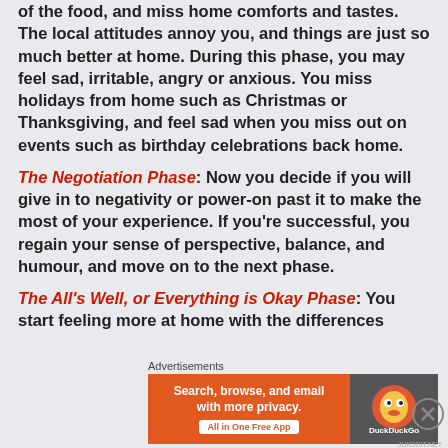of the food, and miss home comforts and tastes. The local attitudes annoy you, and things are just so much better at home. During this phase, you may feel sad, irritable, angry or anxious. You miss holidays from home such as Christmas or Thanksgiving, and feel sad when you miss out on events such as birthday celebrations back home.
The Negotiation Phase: Now you decide if you will give in to negativity or power-on past it to make the most of your experience. If you're successful, you regain your sense of perspective, balance, and humour, and move on to the next phase.
The All's Well, or Everything is Okay Phase: You start feeling more at home with the differences
Advertisements
[Figure (other): DuckDuckGo advertisement banner: orange background with text 'Search, browse, and email with more privacy. All in One Free App' and DuckDuckGo duck logo on dark right panel]